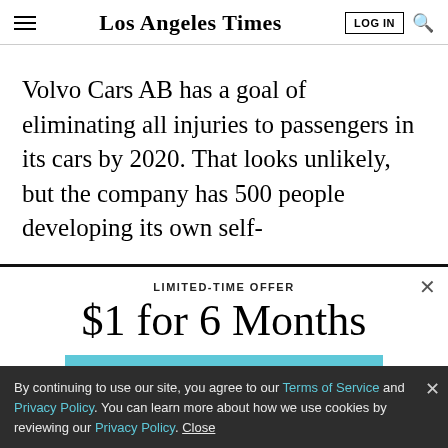Los Angeles Times
Volvo Cars AB has a goal of eliminating all injuries to passengers in its cars by 2020. That looks unlikely, but the company has 500 people developing its own self-
LIMITED-TIME OFFER
$1 for 6 Months
SUBSCRIBE NOW
By continuing to use our site, you agree to our Terms of Service and Privacy Policy. You can learn more about how we use cookies by reviewing our Privacy Policy. Close